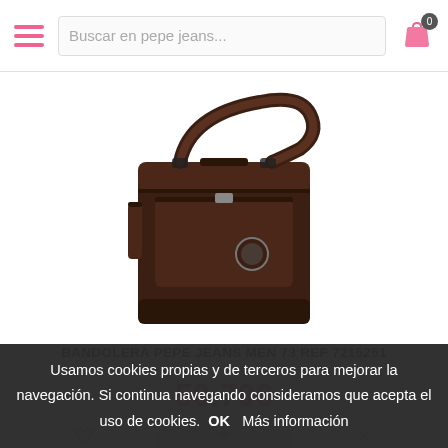Buscar en pepe jeans...
[Figure (photo): Dark brown leather crossbody/messenger bag (BANDOLERA PEPE JEANS MEN 73) with shoulder strap, multiple compartments, zipper pockets, and a round brand logo badge on the front.]
BANDOLERA PEPE JEANS MEN 73 REF 7215251
50.70€
Usamos cookies propias y de terceros para mejorar la navegación. Si continua navegando consideramos que acepta el uso de cookies. OK  Más información